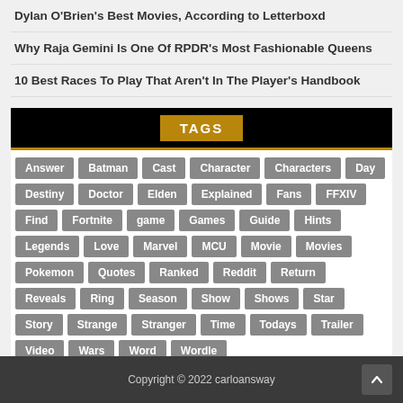Dylan O'Brien's Best Movies, According to Letterboxd
Why Raja Gemini Is One Of RPDR's Most Fashionable Queens
10 Best Races To Play That Aren't In The Player's Handbook
TAGS
Answer Batman Cast Character Characters Day Destiny Doctor Elden Explained Fans FFXIV Find Fortnite game Games Guide Hints Legends Love Marvel MCU Movie Movies Pokemon Quotes Ranked Reddit Return Reveals Ring Season Show Shows Star Story Strange Stranger Time Todays Trailer Video Wars Word Wordle
Copyright © 2022 carloansway